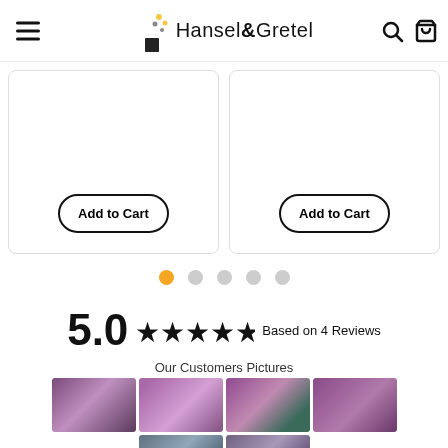Hansel & Gretel
[Figure (screenshot): Two product cards each with 'Add to Cart' button]
[Figure (other): Carousel navigation dots — 5 dots, first one active/orange]
5.0 ★★★★★ Based on 4 Reviews
Our Customers Pictures
[Figure (photo): Grid of customer photos showing purple/pink roses and flowers — 4 thumbnails in top row, 2 partial thumbnails in bottom row]